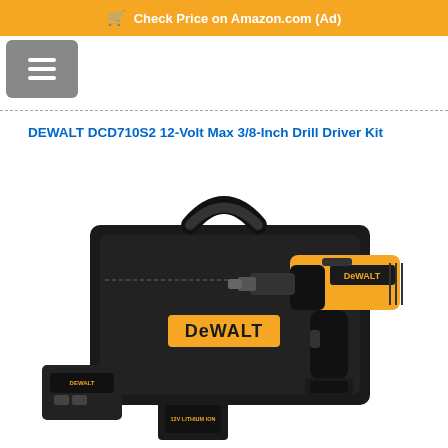Check Price on Amazon.com (Ad)
DEWALT DCD710S2 12-Volt Max 3/8-Inch Drill Driver Kit
[Figure (photo): DEWALT DCD710S2 12-Volt Max 3/8-Inch Drill Driver Kit product photo showing a black tool bag with DEWALT branding, a yellow and black cordless drill driver, a battery charger, and two lithium-ion batteries.]